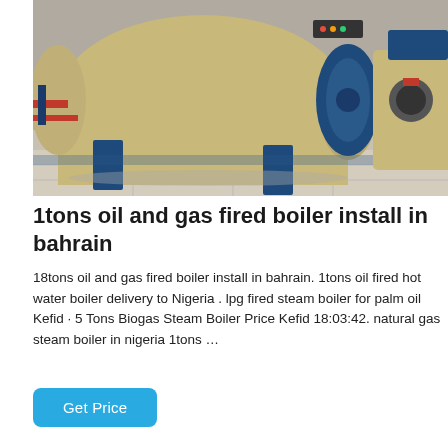[Figure (photo): Industrial boilers in a facility — large blue and tan cylindrical boilers on a tiled floor with piping visible]
1tons oil and gas fired boiler install in bahrain
18tons oil and gas fired boiler install in bahrain. 1tons oil fired hot water boiler delivery to Nigeria . lpg fired steam boiler for palm oil Kefid · 5 Tons Biogas Steam Boiler Price Kefid 18:03:42. natural gas steam boiler in nigeria 1tons ...
Get Price
[Figure (photo): Industrial equipment — partial view of boiler or industrial machinery components]